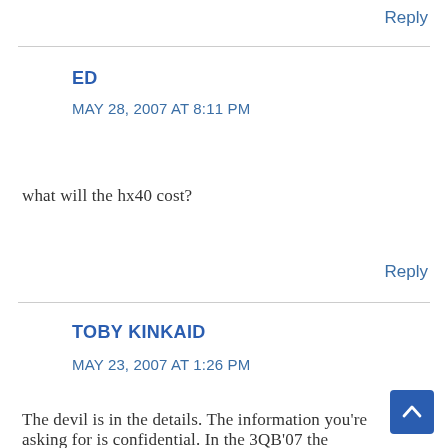Reply
ED
MAY 28, 2007 AT  8:11  PM
what will the hx40 cost?
Reply
TOBY KINKAID
MAY 23, 2007 AT  1:26  PM
The devil is in the details. The information you're asking for is confidential. In the 3QB'07 the